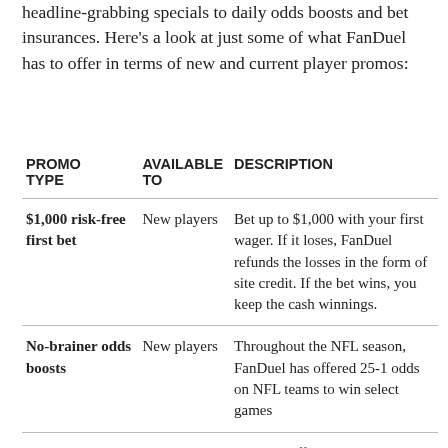headline-grabbing specials to daily odds boosts and bet insurances. Here's a look at just some of what FanDuel has to offer in terms of new and current player promos:
| PROMO TYPE | AVAILABLE TO | DESCRIPTION |
| --- | --- | --- |
| $1,000 risk-free first bet | New players | Bet up to $1,000 with your first wager. If it loses, FanDuel refunds the losses in the form of site credit. If the bet wins, you keep the cash winnings. |
| No-brainer odds boosts | New players | Throughout the NFL season, FanDuel has offered 25-1 odds on NFL teams to win select games |
| Daily odds boosts | New and current | FanDuel offers enhanced payouts on game and player prop |